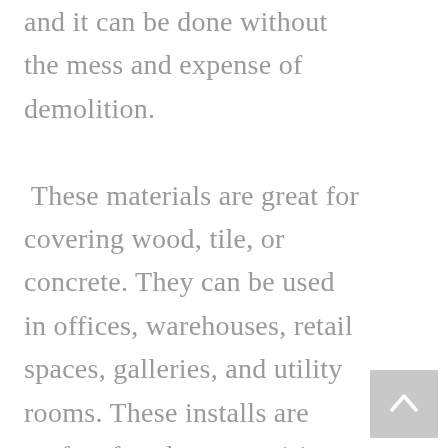and it can be done without the mess and expense of demolition. These materials are great for covering wood, tile, or concrete. They can be used in offices, warehouses, retail spaces, galleries, and utility rooms. These installs are perfect for places requiring a smooth, sturdy, flat surface and are extremely versatile with finishing options like sealing, micro-topping, epoxy coating, or